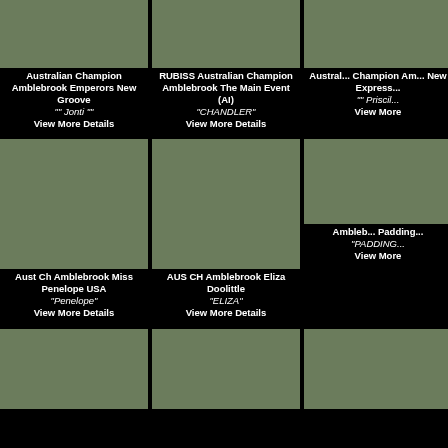[Figure (photo): Cat photo placeholder - Australian Champion Amblebrook Emperors New Groove]
Australian Champion Amblebrook Emperors New Groove
"" Jonti ""
View More Details
[Figure (photo): Cat photo placeholder - RUBISS Australian Champion Amblebrook The Main Event]
RUBISS Australian Champion Amblebrook The Main Event (AI)
"CHANDLER"
View More Details
[Figure (photo): Cat photo placeholder - Australian Champion Amblebrook New Empress]
Australian Champion Amblebrook New Empress "" Priscill...
View More
[Figure (photo): Cat photo - Aust Ch Amblebrook Miss Penelope USA]
Aust Ch Amblebrook Miss Penelope USA
"Penelope"
View More Details
[Figure (photo): Cat photo - AUS CH Amblebrook Eliza Doolittle]
AUS CH Amblebrook Eliza Doolittle
"ELIZA"
View More Details
[Figure (photo): Cat photo - Amblebrook Paddington]
Ambleb... Padding...
"PADDING..."
View More
[Figure (photo): Cat photo bottom row left]
[Figure (photo): Cat photo bottom row center]
[Figure (photo): Cat photo bottom row right]